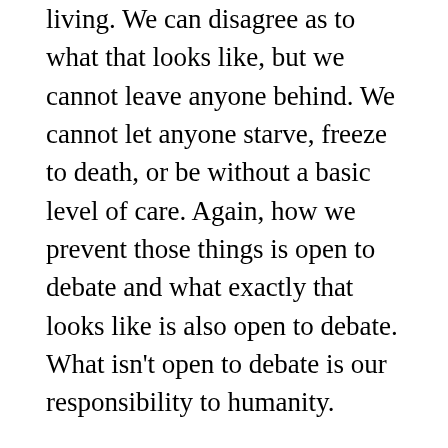living. We can disagree as to what that looks like, but we cannot leave anyone behind. We cannot let anyone starve, freeze to death, or be without a basic level of care. Again, how we prevent those things is open to debate and what exactly that looks like is also open to debate. What isn't open to debate is our responsibility to humanity.
The second truth is that most people when left to their own devices will do whatever benefits them and them alone. This really isn't a bad thing necessarily by itself. We are self-interested beings. We should not be surprised when businesses take advantage of consumers. Without regulation, most of us would do the same thing.